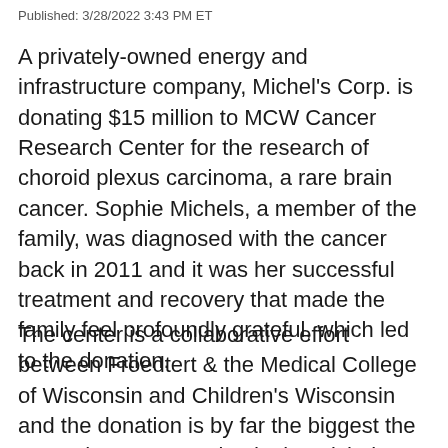Published: 3/28/2022 3:43 PM ET
A privately-owned energy and infrastructure company, Michel's Corp. is donating $15 million to MCW Cancer Research Center for the research of choroid plexus carcinoma, a rare brain cancer. Sophie Michels, a member of the family, was diagnosed with the cancer back in 2011 and it was her successful treatment and recovery that made the family feel profoundly grateful, which led to the donation.
The center is a collaborative effort between Froedtert & the Medical College of Wisconsin and Children's Wisconsin and the donation is by far the biggest the center has ever received. Tim Michels,